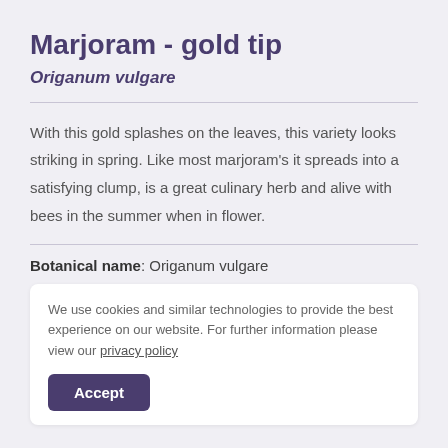Marjoram - gold tip
Origanum vulgare
With this gold splashes on the leaves, this variety looks striking in spring. Like most marjoram's it spreads into a satisfying clump, is a great culinary herb and alive with bees in the summer when in flower.
Botanical name: Origanum vulgare
We use cookies and similar technologies to provide the best experience on our website. For further information please view our privacy policy
Accept